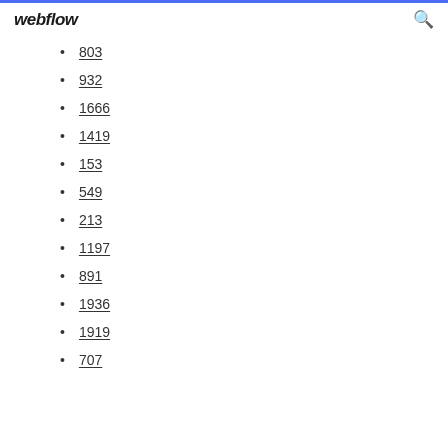webflow
803
932
1666
1419
153
549
213
1197
891
1936
1919
707